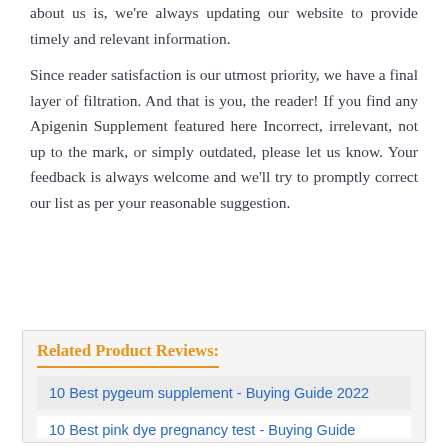about us is, we're always updating our website to provide timely and relevant information.
Since reader satisfaction is our utmost priority, we have a final layer of filtration. And that is you, the reader! If you find any Apigenin Supplement featured here Incorrect, irrelevant, not up to the mark, or simply outdated, please let us know. Your feedback is always welcome and we'll try to promptly correct our list as per your reasonable suggestion.
Related Product Reviews:
10 Best pygeum supplement - Buying Guide 2022
10 Best pink dye pregnancy test - Buying Guide